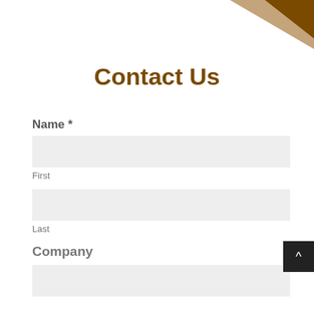[Figure (illustration): Decorative brown and tan angular shapes in the top-right corner of the page]
Contact Us
Name *
First
Last
Company